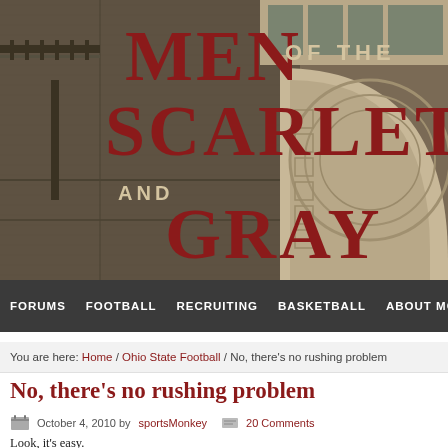[Figure (illustration): Website header banner for 'Men of the Scarlet and Gray' — dark sepia-toned background showing a concrete stadium structure with arched facade on the right side. Large bold dark red/maroon text reads 'MEN OF THE SCARLET AND GRAY' overlaid on the image.]
FORUMS   FOOTBALL   RECRUITING   BASKETBALL   ABOUT MOTSA
You are here: Home / Ohio State Football / No, there's no rushing problem
No, there's no rushing problem
October 4, 2010 by sportsMonkey   20 Comments
Look, it's easy.